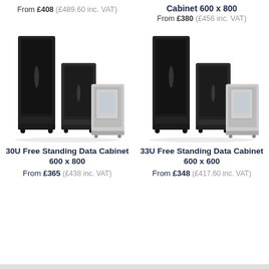From £408 (£489.60 inc. VAT)
Cabinet 600 x 800
From £380 (£456 inc. VAT)
[Figure (photo): Group of three server/network cabinets of different sizes — tall black cabinet, medium dark cabinet, small white cabinet with glass door]
[Figure (photo): Group of three server/network cabinets of different sizes — tall black cabinet, medium dark cabinet, small white cabinet with glass door]
30U Free Standing Data Cabinet 600 x 800
From £365 (£438 inc. VAT)
33U Free Standing Data Cabinet 600 x 600
From £348 (£417.60 inc. VAT)